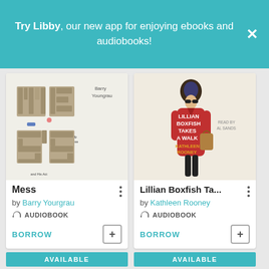Try Libby, our new app for enjoying ebooks and audiobooks!
[Figure (screenshot): Book cover for 'Mess' by Barry Yourgrau — letters made of stone/brick texture]
Mess
by Barry Yourgrau
AUDIOBOOK
BORROW
[Figure (screenshot): Book cover for 'Lillian Boxfish Takes a Walk' by Kathleen Rooney — illustration of woman in red coat]
Lillian Boxfish Ta...
by Kathleen Rooney
AUDIOBOOK
BORROW
AVAILABLE
AVAILABLE